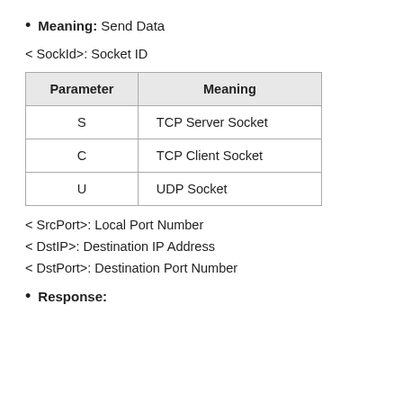Meaning: Send Data
< SockId>: Socket ID
| Parameter | Meaning |
| --- | --- |
| S | TCP Server Socket |
| C | TCP Client Socket |
| U | UDP Socket |
< SrcPort>: Local Port Number
< DstIP>: Destination IP Address
< DstPort>: Destination Port Number
Response: